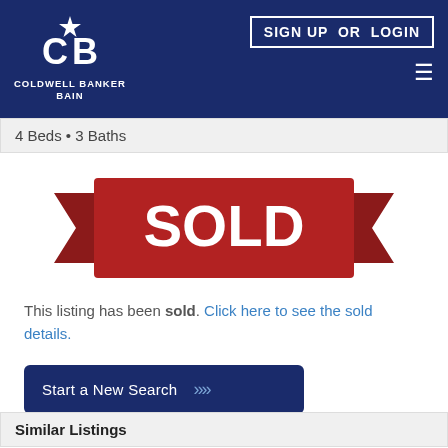[Figure (logo): Coldwell Banker Bain logo — white CB with star on dark navy background, text COLDWELL BANKER BAIN below]
SIGN UP  OR  LOGIN
4 Beds • 3 Baths
[Figure (illustration): Red ribbon banner with white bold text SOLD in the center]
This listing has been sold. Click here to see the sold details.
Start a New Search
Similar Listings
Open House